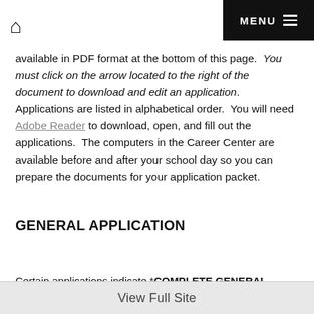MENU
available in PDF format at the bottom of this page. You must click on the arrow located to the right of the document to download and edit an application. Applications are listed in alphabetical order. You will need Adobe Reader to download, open, and fill out the applications. The computers in the Career Center are available before and after your school day so you can prepare the documents for your application packet.
GENERAL APPLICATION
Certain applications indicate *COMPLETE GENERAL
View Full Site